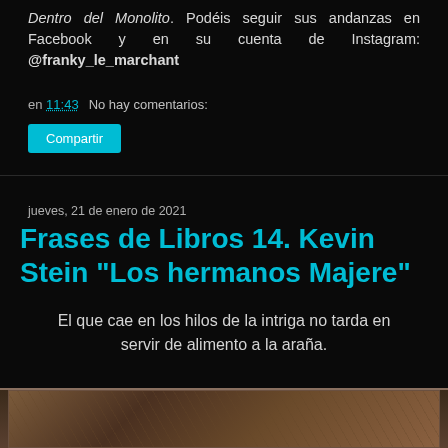Dentro del Monolito. Podéis seguir sus andanzas en Facebook y en su cuenta de Instagram: @franky_le_marchant
en 11:43   No hay comentarios:
Compartir
jueves, 21 de enero de 2021
Frases de Libros 14. Kevin Stein "Los hermanos Majere"
El que cae en los hilos de la intriga no tarda en servir de alimento a la araña.
[Figure (photo): Bottom strip showing partial photograph, appears to be an artistic or fantasy image with warm tones]